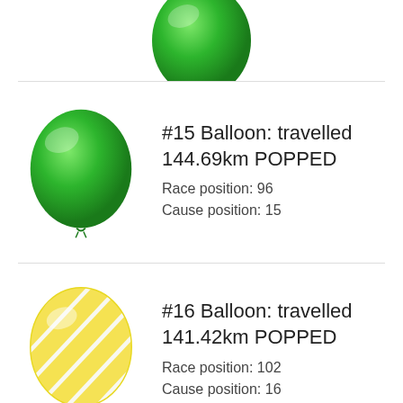[Figure (illustration): Partially visible green balloon at the top of the page, cropped]
[Figure (illustration): Green solid balloon for balloon #15]
#15 Balloon: travelled 144.69km POPPED
Race position: 96
Cause position: 15
[Figure (illustration): Yellow and white striped balloon for balloon #16]
#16 Balloon: travelled 141.42km POPPED
Race position: 102
Cause position: 16